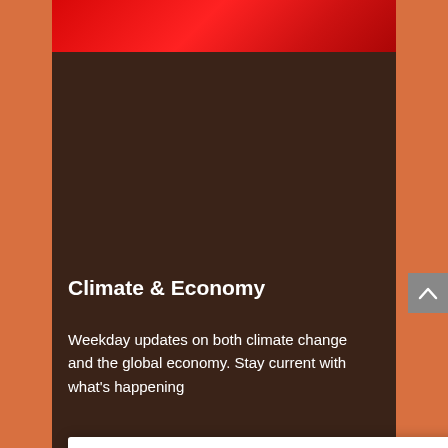[Figure (screenshot): Red gradient banner at top of page]
Climate & Economy
Weekday updates on both climate change and the global economy. Stay current with what's happening
[Figure (screenshot): Share This modal dialog with Facebook and Twitter sharing options. Contains title 'Share This', subtitle 'Share this post with your friends!', Facebook button with blue circle icon, Twitter button with light blue circle icon, and a close (×) button in the top right corner.]